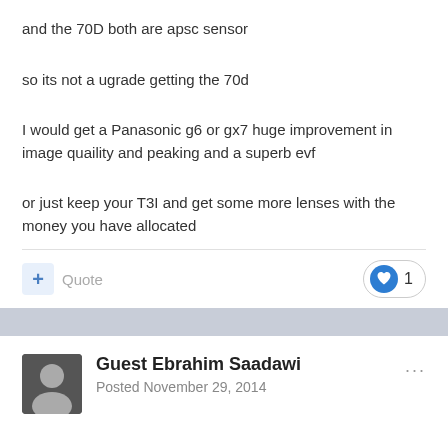and the 70D both are apsc sensor
so its not a ugrade getting the 70d
I would get a Panasonic g6 or gx7 huge improvement in image quaility and peaking and a superb evf
or just keep your T3I and get some more lenses with the money you have allocated
Guest Ebrahim Saadawi
Posted November 29, 2014